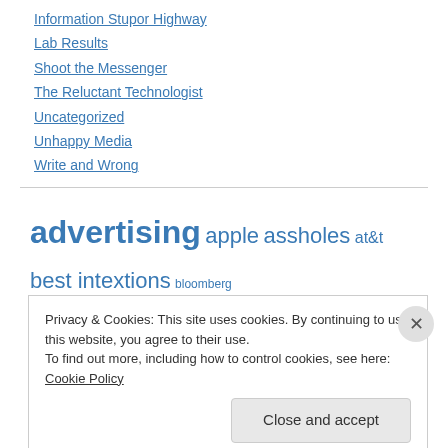Information Stupor Highway
Lab Results
Shoot the Messenger
The Reluctant Technologist
Uncategorized
Unhappy Media
Write and Wrong
[Figure (other): Tag cloud with links: advertising (largest), apple, assholes, at&t, best intextions, bloomberg, bluetooth, candy, cell phones, cnn, coke, college, definition, email, etrade baby]
Privacy & Cookies: This site uses cookies. By continuing to use this website, you agree to their use.
To find out more, including how to control cookies, see here: Cookie Policy
Close and accept